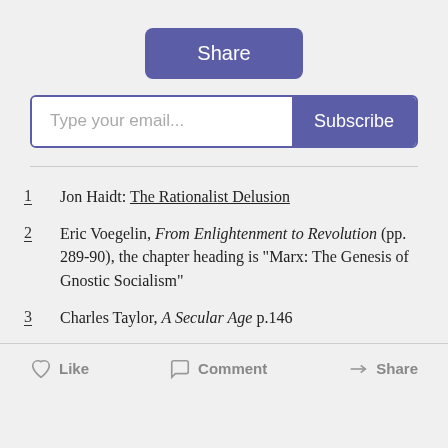[Figure (screenshot): Share button (blue/purple rounded rectangle with white text 'Share')]
[Figure (screenshot): Email subscription bar with 'Type your email...' placeholder and blue 'Subscribe' button]
1  Jon Haidt: The Rationalist Delusion
2  Eric Voegelin, From Enlightenment to Revolution (pp. 289-90), the chapter heading is "Marx: The Genesis of Gnostic Socialism"
3  Charles Taylor, A Secular Age p.146
[Figure (screenshot): Action bar with Like, Comment, and Share buttons]